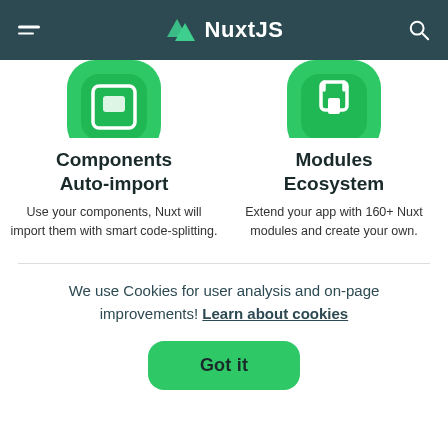NuxtJS
[Figure (illustration): Two green rounded hexagon icons: left shows a component/layout icon, right shows a plug/modules icon, partially cropped at top]
Components Auto-import
Use your components, Nuxt will import them with smart code-splitting.
Modules Ecosystem
Extend your app with 160+ Nuxt modules and create your own.
We use Cookies for user analysis and on-page improvements! Learn about cookies
Got it